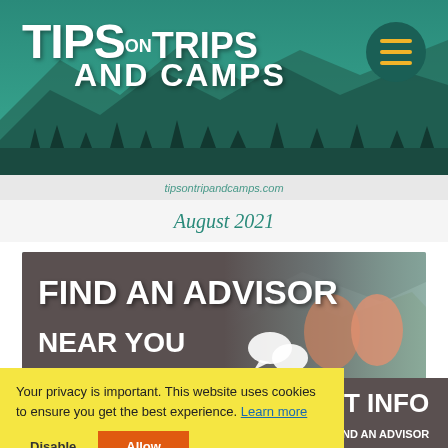[Figure (screenshot): Tips on Trips and Camps website header with teal mountain background and hamburger menu button]
tipsontripandcamps.com
August 2021
[Figure (photo): Find An Advisor Near You banner with dark background and two women sitting on a bench with mountain scenery]
Your privacy is important. This website uses cookies to ensure you get the best experience. Learn more
[Figure (screenshot): Partial view of a second banner showing 'T INFO' and 'ND AN ADVISOR' text on dark background]